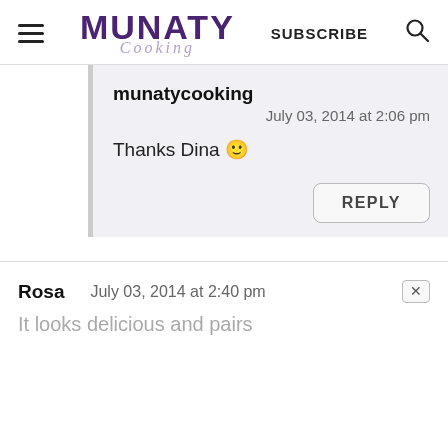Munaty Cooking — SUBSCRIBE [search icon]
munatycooking
July 03, 2014 at 2:06 pm
Thanks Dina 🙂
REPLY
Rosa
July 03, 2014 at 2:40 pm
It looks delicious and pairs